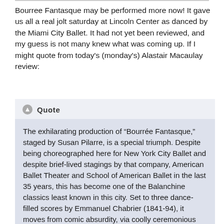Bourree Fantasque may be performed more now! It gave us all a real jolt saturday at Lincoln Center as danced by the Miami City Ballet. It had not yet been reviewed, and my guess is not many knew what was coming up. If I might quote from today's (monday's) Alastair Macaulay review:
Quote
The exhilarating production of “Bourrée Fantasque,” staged by Susan Pilarre, is a special triumph. Despite being choreographed here for New York City Ballet and despite brief-lived stagings by that company, American Ballet Theater and School of American Ballet in the last 35 years, this has become one of the Balanchine classics least known in this city. Set to three dance-filled scores by Emmanuel Chabrier (1841-94), it moves from comic absurdity, via coolly ceremonious romance, to dazzling ebullience. There’s a dash of crazy intoxication to the whole ballet that’s entirely insidious.
Even if you think you know how exciting a Balanchine massed-ranks finale can be, the one that ends “Bourrée” proves yet